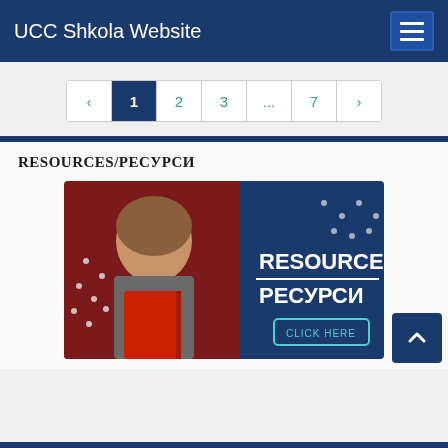UCC Shkola Website
< 1 2 3 ... 7 >
RESOURCES/РЕСУРСИ
[Figure (illustration): Promotional banner showing a young woman reading a red book on the left side with a dark blue and yellow background. Text on the right reads RESOURCES / РЕСУРСИ with a teal CLICK HERE button.]